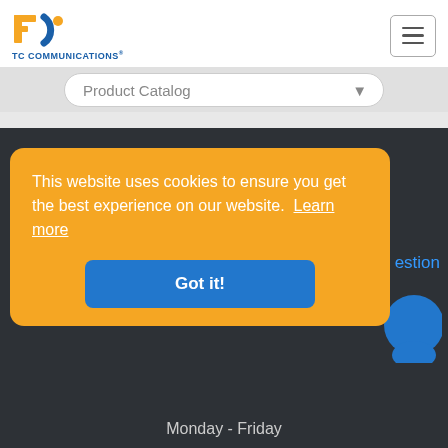[Figure (logo): TC Communications logo with orange and blue icon and company name]
Product Catalog ▾
TC Communications
☏ (949) 852-1972
This website uses cookies to ensure you get the best experience on our website. Learn more
Got it!
estion
Monday - Friday